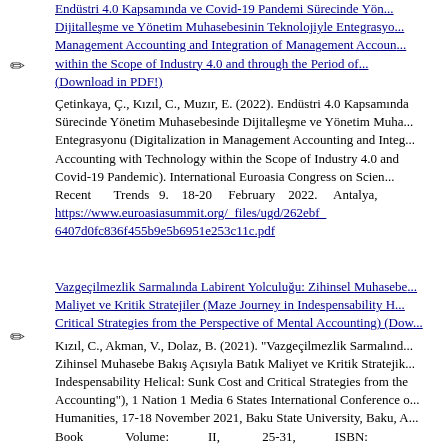Endüstri 4.0 Kapsamında ve Covid-19 Pandemi Sürecinde Yönetim Muhasebesinde Dijitalleşme ve Yönetim Muhasebesinin Teknolojiyle Entegrasyonu (Digitalization in Management Accounting and Integration of Management Accounting with Technology within the Scope of Industry 4.0 and through the Period of Covid-19 Pandemic). (Download in PDF!) Çetinkaya, Ç., Kızıl, C., Muzır, E. (2022). Endüstri 4.0 Kapsamında ve Covid-19 Sürecinde Yönetim Muhasebesinde Dijitalleşme ve Yönetim Muhasebesinin Teknolojiyle Entegrasyonu (Digitalization in Management Accounting and Integration of Management Accounting with Technology within the Scope of Industry 4.0 and through the Covid-19 Pandemic). International Euroasia Congress on Science, Education and Recent Trends 9. 18-20 February 2022. Antalya, Turkey. https://www.euroasiasummit.org/_files/ugd/262ebf_6407d0fc836f455b9e5b6951e253c11c.pdf
Vazgeçilmezlik Sarmalında Labirent Yolculuğu: Zihinsel Muhasebe Bakış Açısıyla Batık Maliyet ve Kritik Stratejiler (Maze Journey in Indespensability Helical: Sunk Cost and Critical Strategies from the Perspective of Mental Accounting) (Download...) Kızıl, C., Akman, V., Dolaz, B. (2021). "Vazgeçilmezlik Sarmalında Labirent Yolculuğu: Zihinsel Muhasebe Bakış Açısıyla Batık Maliyet ve Kritik Stratejiler (Maze Journey in Indespensability Helical: Sunk Cost and Critical Strategies from the Perspective of Mental Accounting"), 1 Nation 1 Media 6 States International Conference on Social Sciences and Humanities, 17-18 November 2021, Baku State University, Baku, Azerbaijan. Book Volume: II, 25-31, ISBN: https://www.scienceazerbaijan.org/_files/ugd/614b1f_aca5e5ab9115-69cbeee6f25.pdf